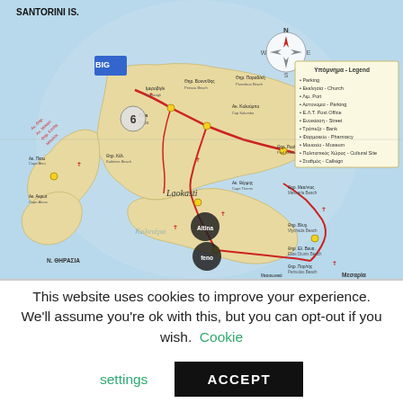[Figure (map): Map of Santorini Island (SANTORINI IS.) showing roads, beaches, locations, compass rose, and legend box in upper right. Map shows the island outline with labeled locations in Greek and English, roads marked in red, beach markers, and a legend (Υπόμνημα - Legend). Lower portion shows N. ΘΗΡΑΣΙΑ island. Logos for BIG, Citina, and feno visible on map.]
This website uses cookies to improve your experience. We'll assume you're ok with this, but you can opt-out if you wish. Cookie settings
ACCEPT